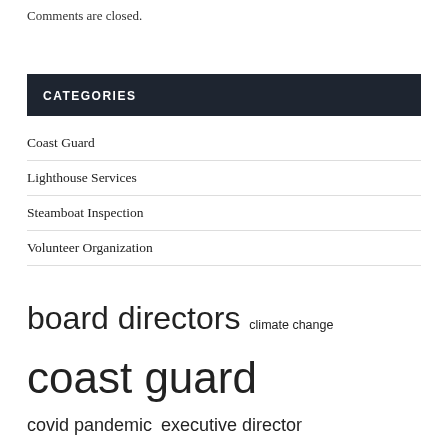Comments are closed.
CATEGORIES
Coast Guard
Lighthouse Services
Steamboat Inspection
Volunteer Organization
board directors  climate change  coast guard  covid pandemic  executive director  high school  long term  mental health  press release  rights reserved  ...